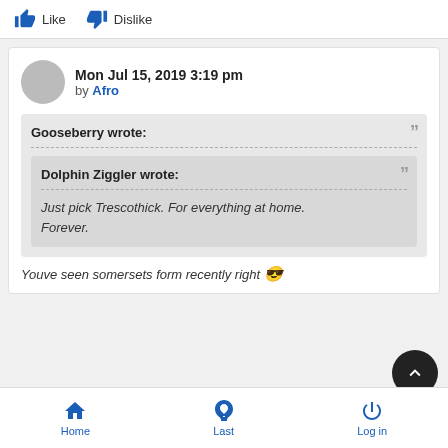[Figure (screenshot): Like and Dislike buttons with thumbs up and thumbs down icons in blue]
Mon Jul 15, 2019 3:19 pm by Afro
Gooseberry wrote:
Dolphin Ziggler wrote:
Just pick Trescothick. For everything at home. Forever.
Youve seen somersets form recently right 😎
Home  Last  Log in